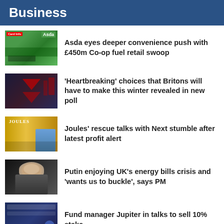Business
Asda eyes deeper convenience push with £450m Co-op fuel retail swoop
'Heartbreaking' choices that Britons will have to make this winter revealed in new poll
Joules' rescue talks with Next stumble after latest profit alert
Putin enjoying UK's energy bills crisis and 'wants us to buckle', says PM
Fund manager Jupiter in talks to sell 10% stake